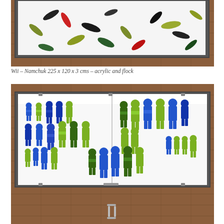[Figure (photo): Top photo showing a illuminated display case mounted on brown tile wall, containing colorful abstract flock shapes (seeds/pods in black, olive green, red, dark green) scattered on white acrylic background.]
Wii – Namchuk 225 x 120 x 3 cms – acrylic and flock
[Figure (photo): Bottom photo showing a large illuminated display case mounted on brown tile wall, containing blue, green and lime-colored figurines (foosball/table football player shapes) arranged in groups on a white acrylic background. A door handle is visible at the bottom center.]